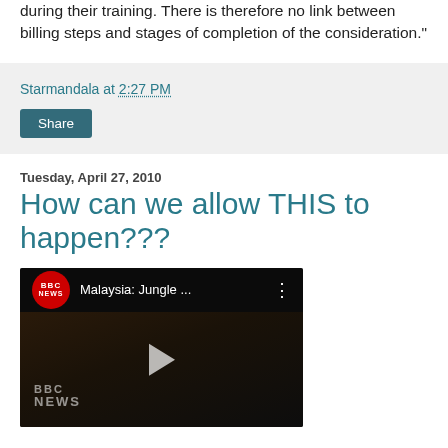during their training. There is therefore no link between billing steps and stages of completion of the consideration."
Starmandala at 2:27 PM
Share
Tuesday, April 27, 2010
How can we allow THIS to happen???
[Figure (screenshot): BBC News YouTube video thumbnail titled 'Malaysia: Jungle ...' with BBC News logo and play button overlay]